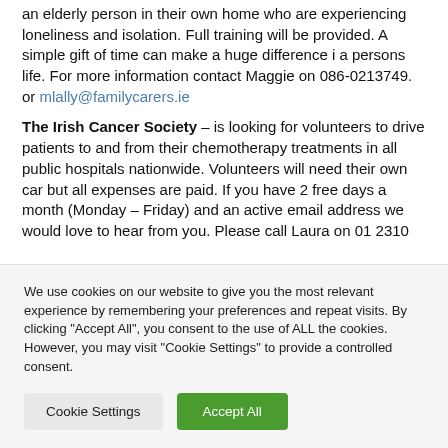an elderly person in their own home who are experiencing loneliness and isolation. Full training will be provided. A simple gift of time can make a huge difference i a persons life. For more information contact Maggie on 086-0213749. or mlally@familycarers.ie
The Irish Cancer Society – is looking for volunteers to drive patients to and from their chemotherapy treatments in all public hospitals nationwide. Volunteers will need their own car but all expenses are paid. If you have 2 free days a month (Monday – Friday) and an active email address we would love to hear from you. Please call Laura on 01 2310...
We use cookies on our website to give you the most relevant experience by remembering your preferences and repeat visits. By clicking "Accept All", you consent to the use of ALL the cookies. However, you may visit "Cookie Settings" to provide a controlled consent.